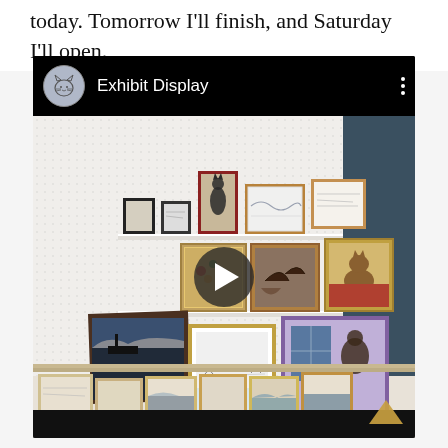today. Tomorrow I'll finish, and Saturday I'll open.
[Figure (screenshot): Embedded video player showing 'Exhibit Display' with a channel icon (cat drawing in circle), three-dot menu, and a thumbnail of framed artwork displayed on shelves and a table in a gallery/exhibit setting. A play button overlay is visible in the center.]